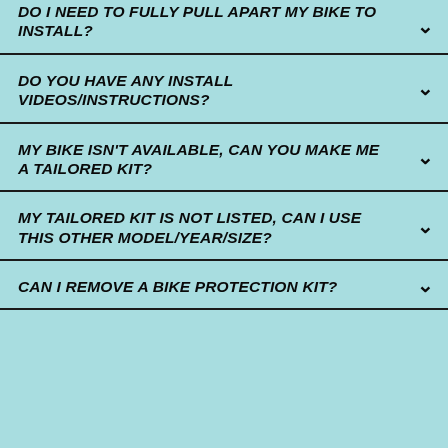DO I NEED TO FULLY PULL APART MY BIKE TO INSTALL?
DO YOU HAVE ANY INSTALL VIDEOS/INSTRUCTIONS?
MY BIKE ISN'T AVAILABLE, CAN YOU MAKE ME A TAILORED KIT?
MY TAILORED KIT IS NOT LISTED, CAN I USE THIS OTHER MODEL/YEAR/SIZE?
CAN I REMOVE A BIKE PROTECTION KIT?